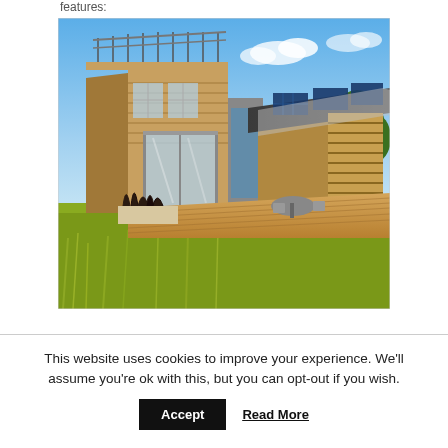features:
[Figure (illustration): Exterior render of a modern eco-friendly house with wood siding, large glass sliding doors, a rooftop deck with railing, solar panels on the roof, an outdoor deck/patio area with furniture, wood louver privacy screen panels, surrounded by tall grass and a tree in the background under a blue sky.]
This website uses cookies to improve your experience. We'll assume you're ok with this, but you can opt-out if you wish.
Accept
Read More